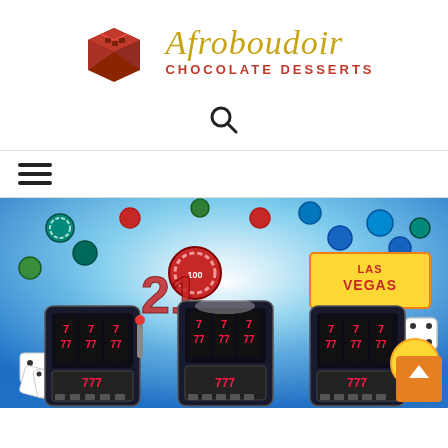[Figure (logo): Afroboudoir Chocolate Desserts logo with a chocolate bar graphic and stylized italic text in gold with red subtitle]
[Figure (other): Search icon (magnifying glass)]
[Figure (other): Hamburger menu icon (three horizontal lines)]
[Figure (photo): Casino themed photo showing slot machines displaying 777, casino chips, dice, and Las Vegas sign in a vibrant blue light background]